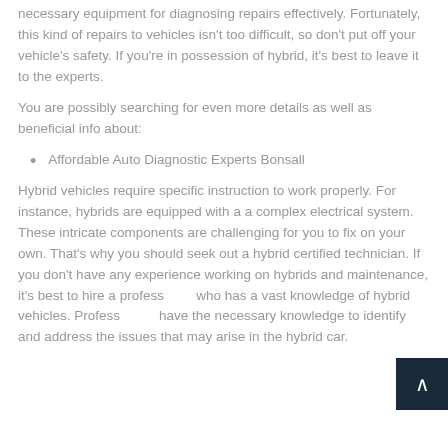necessary equipment for diagnosing repairs effectively. Fortunately, this kind of repairs to vehicles isn't too difficult, so don't put off your vehicle's safety. If you're in possession of hybrid, it's best to leave it to the experts.
You are possibly searching for even more details as well as beneficial info about:
Affordable Auto Diagnostic Experts Bonsall
Hybrid vehicles require specific instruction to work properly. For instance, hybrids are equipped with a a complex electrical system. These intricate components are challenging for you to fix on your own. That's why you should seek out a hybrid certified technician. If you don't have any experience working on hybrids and maintenance, it's best to hire a professional who has a vast knowledge of hybrid vehicles. Professionals have the necessary knowledge to identify and address the issues that may arise in the hybrid car.
...